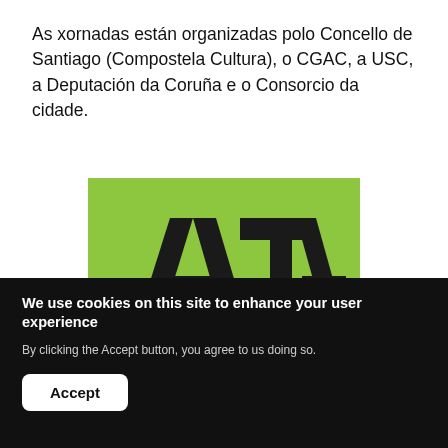As xornadas están organizadas polo Concello de Santiago (Compostela Cultura), o CGAC, a USC, a Deputación da Coruña e o Consorcio da cidade.
[Figure (logo): Green background logo with large bold black letters showing partial text 'LA' and 'TA' — appears to be a cropped event or organization logo]
We use cookies on this site to enhance your user experience
By clicking the Accept button, you agree to us doing so.
Accept